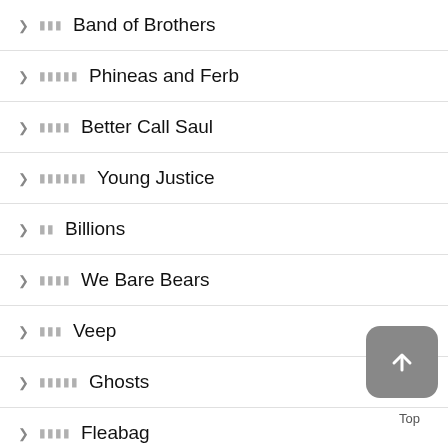❯ ★★★ Band of Brothers
❯ ★★★★★ Phineas and Ferb
❯ ★★★★ Better Call Saul
❯ ★★★★★★ Young Justice
❯ ★★ Billions
❯ ★★★★ We Bare Bears
❯ ★★★ Veep
❯ ★★★★★ Ghosts
❯ ★★★★ Fleabag
❯ ★★★★ Gentleman
❯ ★★ Flack
❯ ★★★★ Patrick Melrose